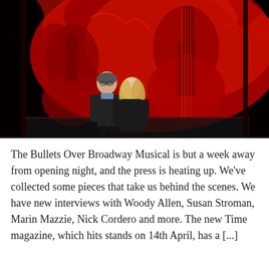[Figure (photo): A theatrical photo showing two people (a man in dark sweater and a woman with blonde hair in dark clothing) standing on a stage in front of a dramatic red backdrop featuring abstract musical instrument imagery (guitars, hands) on a black background.]
The Bullets Over Broadway Musical is but a week away from opening night, and the press is heating up. We've collected some pieces that take us behind the scenes. We have new interviews with Woody Allen, Susan Stroman, Marin Mazzie, Nick Cordero and more. The new Time magazine, which hits stands on 14th April, has a [...]